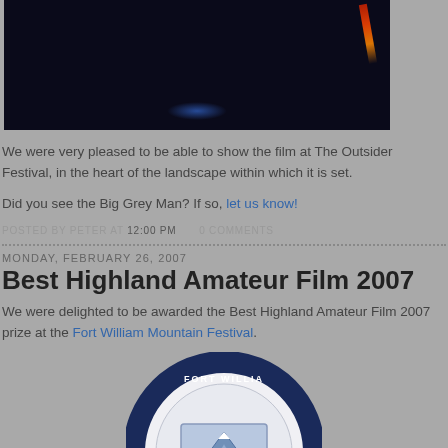[Figure (photo): Dark night sky photo, likely showing a rocket or flare with red/orange glow against black sky and blue light at bottom]
We were very pleased to be able to show the film at The Outsider Festival, in the heart of the landscape within which it is set.
Did you see the Big Grey Man? If so, let us know!
POSTED BY PETER AT 12:00 PM   0 COMMENTS
MONDAY, FEBRUARY 26, 2007
Best Highland Amateur Film 2007
We were delighted to be awarded the Best Highland Amateur Film 2007 prize at the Fort William Mountain Festival.
[Figure (photo): Circular medallion/badge for Fort William Mountain Festival award]